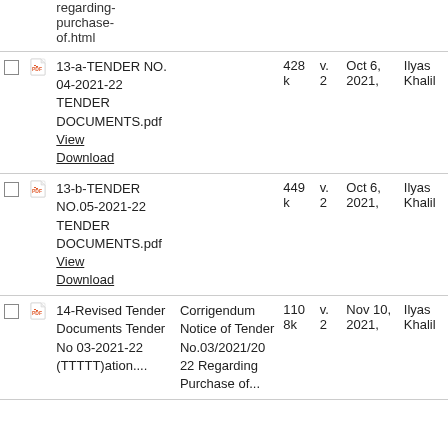|  |  | Name | Description | Size | Ver | Date | Author |
| --- | --- | --- | --- | --- | --- | --- | --- |
|  |  | regarding-purchase-of.html |  |  |  |  |  |
| ☐ | PDF | 13-a-TENDER NO. 04-2021-22 TENDER DOCUMENTS.pdf
View
Download |  | 428 k | v. 2 | Oct 6, 2021, | Ilyas Khalil |
| ☐ | PDF | 13-b-TENDER NO.05-2021-22 TENDER DOCUMENTS.pdf
View
Download |  | 449 k | v. 2 | Oct 6, 2021, | Ilyas Khalil |
| ☐ | PDF | 14-Revised Tender Documents Tender No 03-2021-22 (TTTTT)..... | Corrigendum Notice of Tender No.03/2021/2022 Regarding Purchase of... | 1108k | v. 2 | Nov 10, 2021, | Ilyas Khalil |